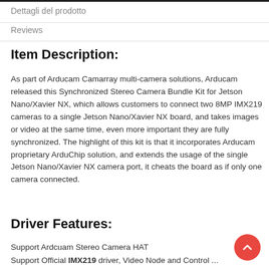Dettagli del prodotto
Reviews
Item Description:
As part of Arducam Camarray multi-camera solutions, Arducam released this Synchronized Stereo Camera Bundle Kit for Jetson Nano/Xavier NX, which allows customers to connect two 8MP IMX219 cameras to a single Jetson Nano/Xavier NX board, and takes images or video at the same time, even more important they are fully synchronized. The highlight of this kit is that it incorporates Arducam proprietary ArduChip solution, and extends the usage of the single Jetson Nano/Xavier NX camera port, it cheats the board as if only one camera connected.
Driver Features:
Support Ardcuam Stereo Camera HAT
Support Official IMX219 driver, Video Node and Control ...